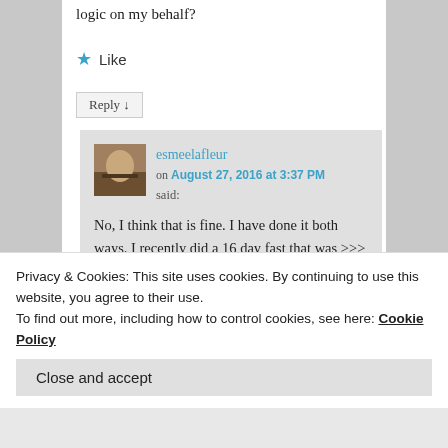logic on my behalf?
★ Like
Reply ↓
esmeelafleur on August 27, 2016 at 3:37 PM said:
No, I think that is fine. I have done it both ways. I recently did a 16 day fast that was >>> 5 water – 5 dry – 6 water <<< and I really liked doing it that way. But I have
Privacy & Cookies: This site uses cookies. By continuing to use this website, you agree to their use.
To find out more, including how to control cookies, see here: Cookie Policy
Close and accept